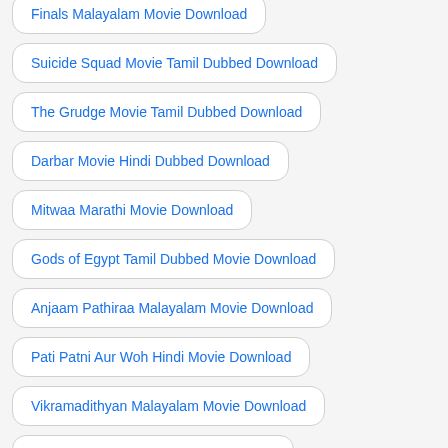Finals Malayalam Movie Download
Suicide Squad Movie Tamil Dubbed Download
The Grudge Movie Tamil Dubbed Download
Darbar Movie Hindi Dubbed Download
Mitwaa Marathi Movie Download
Gods of Egypt Tamil Dubbed Movie Download
Anjaam Pathiraa Malayalam Movie Download
Pati Patni Aur Woh Hindi Movie Download
Vikramadithyan Malayalam Movie Download
Geetha Govindam Tamil Dubbed Movie